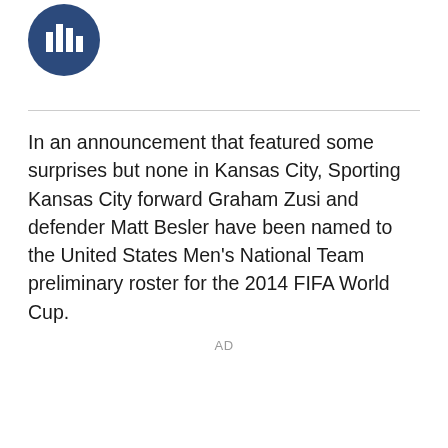[Figure (logo): Circular dark blue logo with vertical bar chart / audio bars icon in white]
In an announcement that featured some surprises but none in Kansas City, Sporting Kansas City forward Graham Zusi and defender Matt Besler have been named to the United States Men's National Team preliminary roster for the 2014 FIFA World Cup.
AD